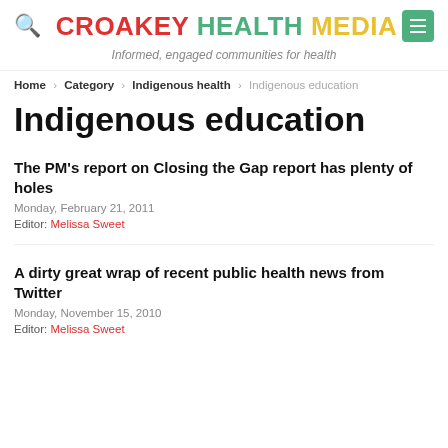CROAKEY HEALTH MEDIA — Informed, engaged communities for health
Home > Category > Indigenous health > Indigenous education
Indigenous education
The PM's report on Closing the Gap report has plenty of holes
Monday, February 21, 2011
Editor: Melissa Sweet
A dirty great wrap of recent public health news from Twitter
Monday, November 15, 2010
Editor: Melissa Sweet